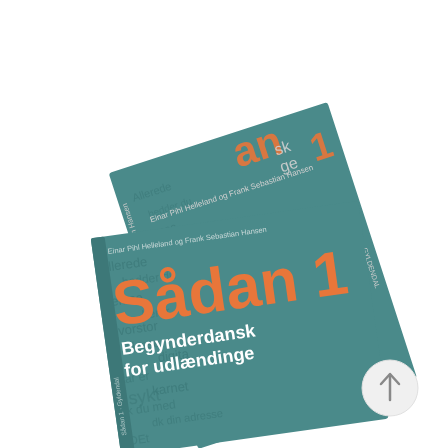[Figure (photo): Two teal/dark cyan colored books titled 'Sådan 1 – Begynderdansk for udlændinge' by Einar Pihl Helleland og Frank Sebastian Hansen, published by Gyldendal. The front book shows the title 'Sådan' in large orange text with '1' in orange, and subtitle 'Begynderdansk for udlændinge' in white. The books are photographed at an angle on a white background. A circular arrow-up navigation button is visible in the bottom right area.]